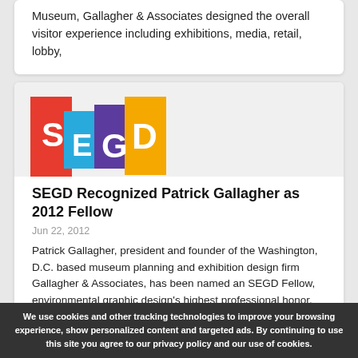Museum, Gallagher & Associates designed the overall visitor experience including exhibitions, media, retail, lobby,
[Figure (logo): SEGD logo with four colored rectangles/blocks containing letters S, E, G, D in red, blue, purple, and yellow/gold colors]
SEGD Recognized Patrick Gallagher as 2012 Fellow
Jun 22, 2012
Patrick Gallagher, president and founder of the Washington, D.C. based museum planning and exhibition design firm Gallagher & Associates, has been named an SEGD Fellow, environmental graphic design's highest professional honor.
We use cookies and other tracking technologies to improve your browsing experience, show personalized content and targeted ads. By continuing to use this site you agree to our privacy policy and our use of cookies.